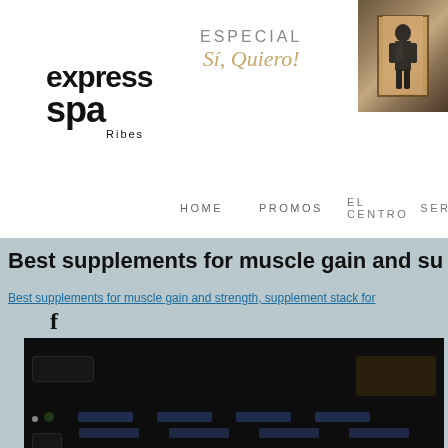[Figure (logo): Express Spa Ribes logo in black text]
ESPECIAL
Sí, Quiero!
[Figure (photo): Small photo of a person in formal attire, cropped at top right of header]
HOME   PROMOS   EL CENTRO   SER
Best supplements for muscle gain and su
Best supplements for muscle gain and strength, supplement stack for
[Figure (screenshot): Blurred dark screenshot of a website or application interface]